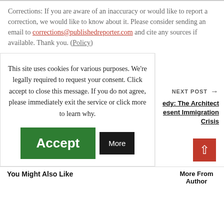Corrections: If you are aware of an inaccuracy or would like to report a correction, we would like to know about it. Please consider sending an email to corrections@publishedreporter.com and cite any sources if available. Thank you. (Policy)
This site uses cookies for various purposes. We're legally required to request your consent. Click accept to close this message. If you do not agree, please immediately exit the service or click more to learn why.
Accept
More
NEXT POST →
edy: The Architect esent Immigration Crisis
You Might Also Like
More From Author